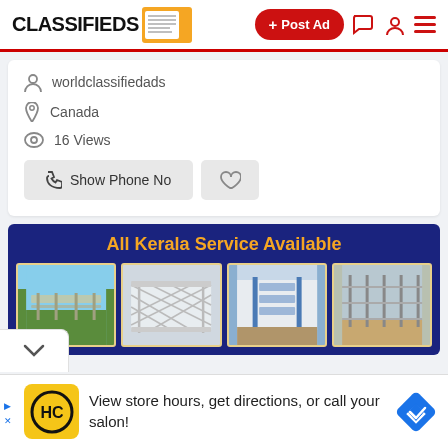CLASSIFIEDS + Post Ad
worldclassifiedads
Canada
16 Views
Show Phone No
[Figure (screenshot): Ad banner for All Kerala Service Available showing four fence/wall images]
View store hours, get directions, or call your salon!